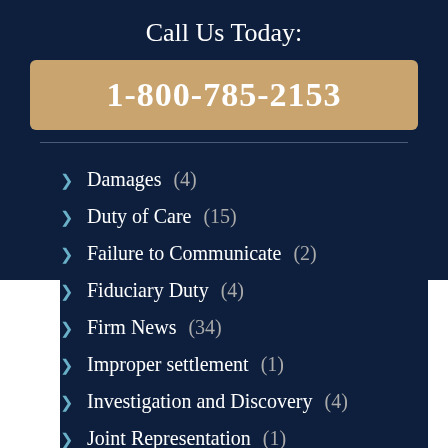Call Us Today:
1-800-785-2153
Damages (4)
Duty of Care (15)
Failure to Communicate (2)
Fiduciary Duty (4)
Firm News (34)
Improper settlement (1)
Investigation and Discovery (4)
Joint Representation (1)
Legal Malpractice Law (250)
Military Divorce (1)